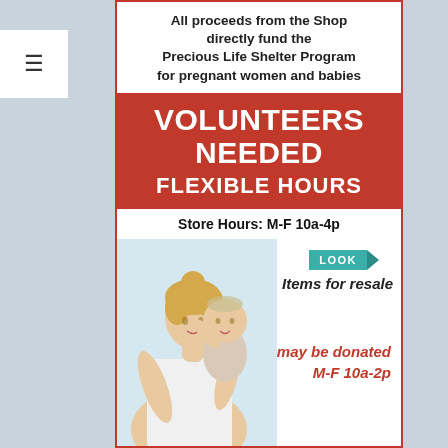[Figure (infographic): Menu hamburger button top left corner]
All proceeds from the Shop directly fund the Precious Life Shelter Program for pregnant women and babies
VOLUNTEERS NEEDED FLEXIBLE HOURS
Store Hours: M-F 10a-4p
[Figure (photo): Woman holding baby/toddler, looking face to face]
LOOK Items for resale may be donated M-F 10a-2p